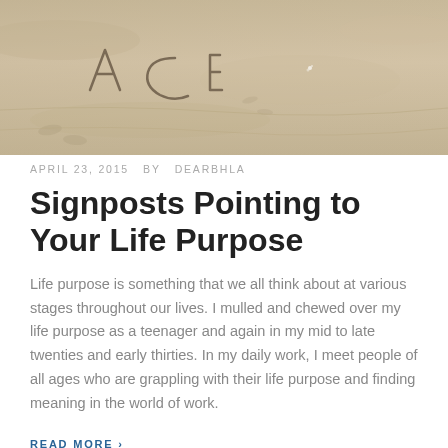[Figure (photo): A close-up photograph of sand on a beach with text or writing traced into the sand, partially visible at the top of the page.]
APRIL 23, 2015   BY   DEARBHLA
Signposts Pointing to Your Life Purpose
Life purpose is something that we all think about at various stages throughout our lives. I mulled and chewed over my life purpose as a teenager and again in my mid to late twenties and early thirties. In my daily work, I meet people of all ages who are grappling with their life purpose and finding meaning in the world of work.
READ MORE ›